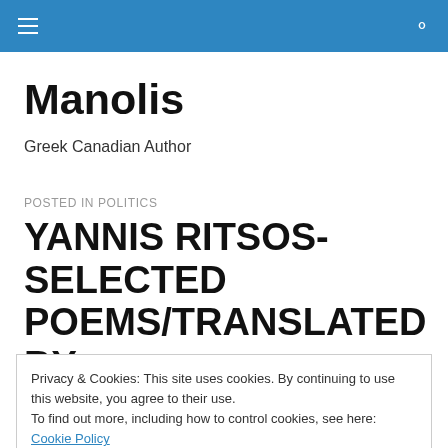Manolis – Greek Canadian Author (top navigation bar)
Manolis
Greek Canadian Author
POSTED IN POLITICS
YANNIS RITSOS-SELECTED POEMS/TRANSLATED BY
Privacy & Cookies: This site uses cookies. By continuing to use this website, you agree to their use.
To find out more, including how to control cookies, see here: Cookie Policy
[Figure (photo): Partial view of a decorative statue or carving with golden/bronze tones, visible at the bottom of the page.]